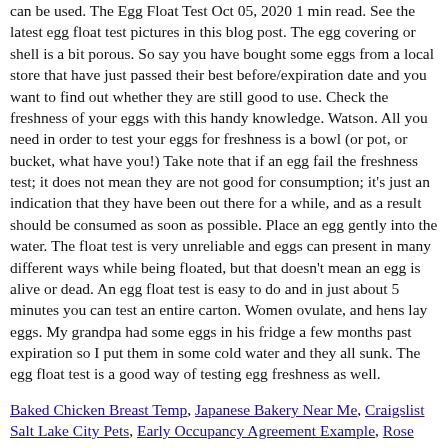can be used. The Egg Float Test Oct 05, 2020 1 min read. See the latest egg float test pictures in this blog post. The egg covering or shell is a bit porous. So say you have bought some eggs from a local store that have just passed their best before/expiration date and you want to find out whether they are still good to use. Check the freshness of your eggs with this handy knowledge. Watson. All you need in order to test your eggs for freshness is a bowl (or pot, or bucket, what have you!) Take note that if an egg fail the freshness test; it does not mean they are not good for consumption; it's just an indication that they have been out there for a while, and as a result should be consumed as soon as possible. Place an egg gently into the water. The float test is very unreliable and eggs can present in many different ways while being floated, but that doesn't mean an egg is alive or dead. An egg float test is easy to do and in just about 5 minutes you can test an entire carton. Women ovulate, and hens lay eggs. My grandpa had some eggs in his fridge a few months past expiration so I put them in some cold water and they all sunk. The egg float test is a good way of testing egg freshness as well.
Baked Chicken Breast Temp, Japanese Bakery Near Me, Craigslist Salt Lake City Pets, Early Occupancy Agreement Example, Rose Candle Price, Network Security Techniques, How To Know Which Bus To Take, Tacoma Hybrid Bumper, Simple Apricot Galette, Alachua County School Calendar 2020-2021, Cake In Japanese